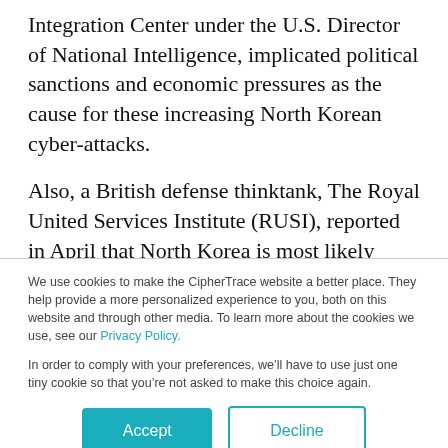Integration Center under the U.S. Director of National Intelligence, implicated political sanctions and economic pressures as the cause for these increasing North Korean cyber-attacks.
Also, a British defense thinktank, The Royal United Services Institute (RUSI), reported in April that North Korea is most likely “directly funding” its nuclear weapons program using cryptocurrency.
We use cookies to make the CipherTrace website a better place. They help provide a more personalized experience to you, both on this website and through other media. To learn more about the cookies we use, see our Privacy Policy.
In order to comply with your preferences, we’ll have to use just one tiny cookie so that you’re not asked to make this choice again.